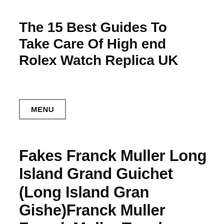The 15 Best Guides To Take Care Of High end Rolex Watch Replica UK
MENU
Fakes Franck Muller Long Island Grand Guichet (Long Island Gran Gishe)Franck Muller Franck Muller Tonokervex Color Dream